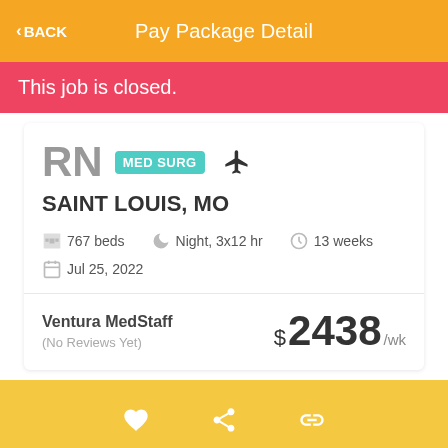Pay Package Detail
This job is closed.
RN MED SURG
SAINT LOUIS, MO
767 beds   Night, 3x12 hr   13 weeks
Jul 25, 2022
Ventura MedStaff
(No Reviews Yet)
$2438 /wk
FIND SIMILAR JOBS